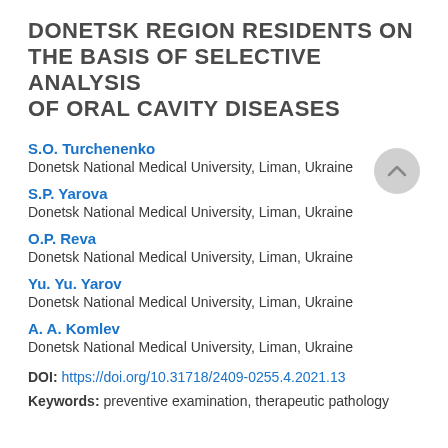DONETSK REGION RESIDENTS ON THE BASIS OF SELECTIVE ANALYSIS OF ORAL CAVITY DISEASES
S.O. Turchenenko
Donetsk National Medical University, Liman, Ukraine
S.P. Yarova
Donetsk National Medical University, Liman, Ukraine
O.P. Reva
Donetsk National Medical University, Liman, Ukraine
Yu. Yu. Yarov
Donetsk National Medical University, Liman, Ukraine
A. A. Komlev
Donetsk National Medical University, Liman, Ukraine
DOI: https://doi.org/10.31718/2409-0255.4.2021.13
Keywords: preventive examination, therapeutic pathology